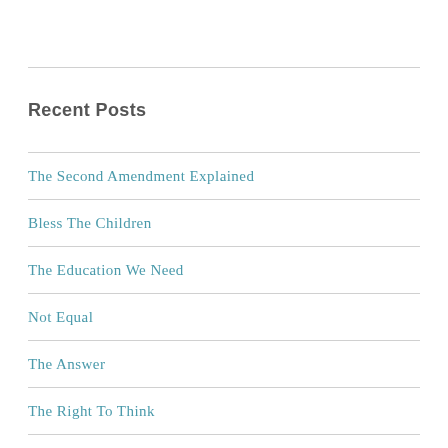Recent Posts
The Second Amendment Explained
Bless The Children
The Education We Need
Not Equal
The Answer
The Right To Think
Aren't These Some Of The Best Books?